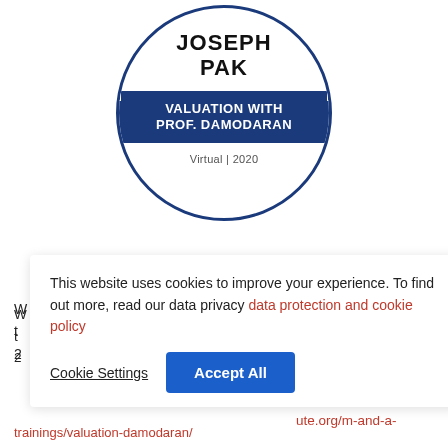[Figure (logo): Circular badge for Joseph Pak - Valuation with Prof. Damodaran, Virtual 2020. Dark blue border circle with name at top and dark blue ribbon banner with course title, then 'Virtual | 2020' text below.]
participated in ... amodaran in ... 2...
This website uses cookies to improve your experience. To find out more, read our data privacy data protection and cookie policy
Cookie Settings
Accept All
ning, please refer ... ute.org/m-and-a-
trainings/valuation-damodaran/